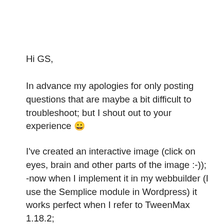Hi GS,
In advance my apologies for only posting questions that are maybe a bit difficult to troubleshoot; but I shout out to your experience 😀
I've created an interactive image (click on eyes, brain and other parts of the image :-));
-now when I implement it in my webbuilder (I use the Semplice module in Wordpress) it works perfect when I refer to TweenMax 1.18.2;
-but some animations fail when I refer to TweenMax 2.0.1;